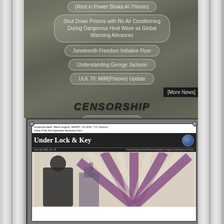Rest in Power Shaka Al-Thinnin
Shut Down Prisons with No Air Conditioning During Dangerous Heat Wave as Global Warming Advances
Juneteenth Freedom Initiative Flyer
Understanding George Jackson
ULK 78: MIM(Prisons) Update
[More News]
CENSORSHIP
Gist in TX (6/24/22)
Allred Unit in TX (6/24/22)
Estelle High Security Unit in TX (6/24/22)
Wynne Unit in TX (6/24/22)
Allred Unit in TX (6/24/22)
[Censorship Data]
[Figure (other): Thumbnail image of 'Under Lock & Key' newsletter magazine cover with text: Inside:Ecuador, Black August, WWIII?, CA SHU, TX Censors. Voice of the Anti-Imperialist Movement from Under Lock & Key. Summer 2022, No. 78.]